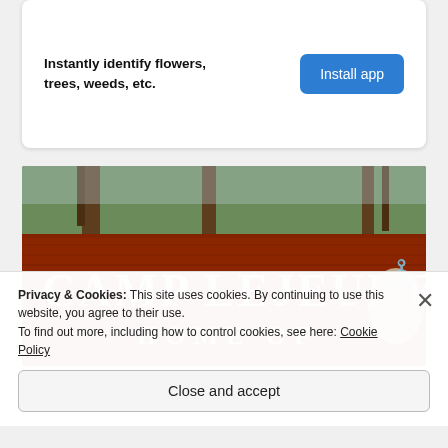Instantly identify flowers, trees, weeds, etc.
[Figure (photo): Camp Lejeune entrance sign on red brick wall with Marine Corps Eagle Globe and Anchor emblem; text reads 'CAMP LEJEUNE HOME OF'; trees visible in background.]
Privacy & Cookies: This site uses cookies. By continuing to use this website, you agree to their use. To find out more, including how to control cookies, see here: Cookie Policy
Close and accept